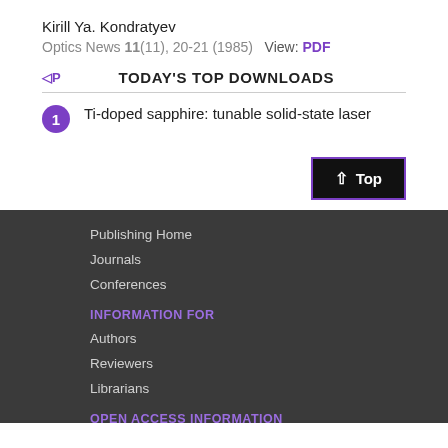Kirill Ya. Kondratyev
Optics News 11(11), 20-21 (1985)  View: PDF
TODAY'S TOP DOWNLOADS
1  Ti-doped sapphire: tunable solid-state laser
Publishing Home
Journals
Conferences
INFORMATION FOR
Authors
Reviewers
Librarians
OPEN ACCESS INFORMATION